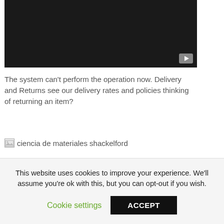[Figure (screenshot): Dark video player area with a grey play button in the bottom right corner]
The system can't perform the operation now. Delivery and Returns see our delivery rates and policies thinking of returning an item?
[Figure (illustration): Broken image placeholder followed by text: ciencia de materiales shackelford]
To access your account information you need to be authenticated, which means that you need to enter your password to confirm that you are indeed the person that the cookie claims you to be.
This website uses cookies to improve your experience. We'll assume you're ok with this, but you can opt-out if you wish.
Cookie settings   ACCEPT